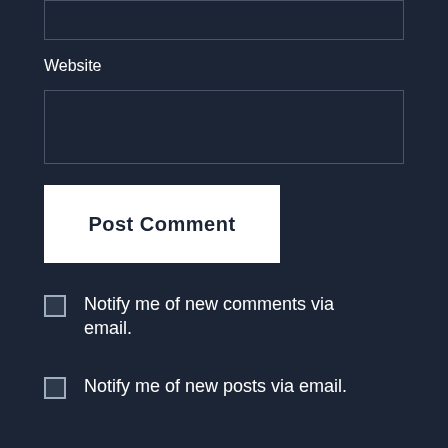[Figure (screenshot): Top portion of a web comment form input box (cropped at top)]
Website
[Figure (screenshot): Website input field text box (empty)]
Post Comment
Notify me of new comments via email.
Notify me of new posts via email.